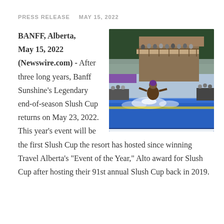PRESS RELEASE   MAY 15, 2022
[Figure (photo): A person in costume attempting to ski or snowboard across a slush pool at Banff Sunshine ski resort, with crowds watching from the sides and a chalet-style building in the background surrounded by snow and evergreen trees.]
BANFF, Alberta, May 15, 2022 (Newswire.com) - After three long years, Banff Sunshine's Legendary end-of-season Slush Cup returns on May 23, 2022. This year's event will be the first Slush Cup the resort has hosted since winning Travel Alberta's "Event of the Year," Alto award for Slush Cup after hosting their 91st annual Slush Cup back in 2019.